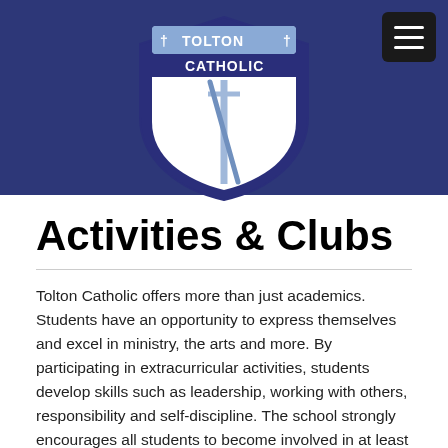[Figure (logo): Tolton Catholic school shield logo with cross symbols and stylized 't' letterform, white and light blue on dark navy background, with hamburger menu button in top right corner]
Activities & Clubs
Tolton Catholic offers more than just academics. Students have an opportunity to express themselves and excel in ministry, the arts and more. By participating in extracurricular activities, students develop skills such as leadership, working with others, responsibility and self-discipline. The school strongly encourages all students to become involved in at least one extra-curricular activity